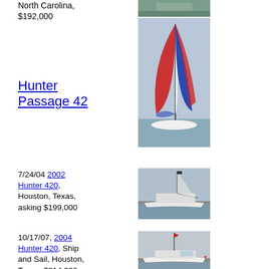North Carolina, $192,000
[Figure (photo): Sailboat photo thumbnail at top]
Hunter Passage 42
[Figure (photo): Sailboat with colorful red-white-blue spinnaker sail]
7/24/04 2002 Hunter 420, Houston, Texas, asking $199,000
[Figure (photo): 2002 Hunter 420 sailboat docked at marina]
10/17/07, 2004 Hunter 420, Ship and Sail, Houston, Texas, $214,900
[Figure (photo): 2004 Hunter 420 sailboat at marina]